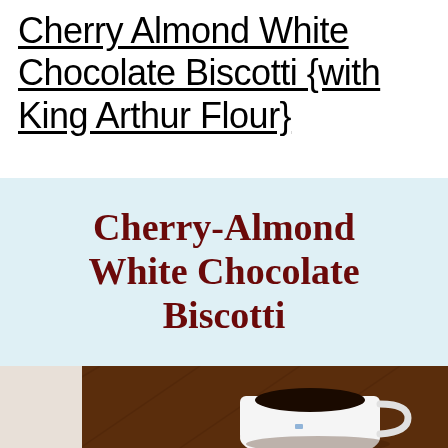Cherry Almond White Chocolate Biscotti {with King Arthur Flour}
[Figure (photo): Photo of Cherry-Almond White Chocolate Biscotti with text overlay on light blue background. Below the text is a photo of a white coffee mug filled with black coffee sitting on a dark wooden table/board.]